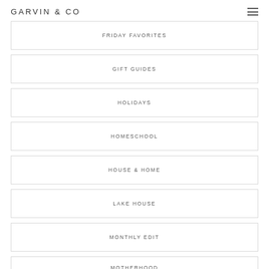GARVIN & CO
FRIDAY FAVORITES
GIFT GUIDES
HOLIDAYS
HOMESCHOOL
HOUSE & HOME
LAKE HOUSE
MONTHLY EDIT
MOTHERHOOD